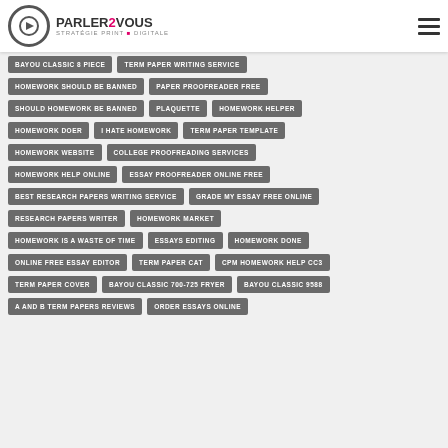PARLER2VOUS STRATÉGIE PRINT & DIGITALE
BAYOU CLASSIC 8 PIECE
TERM PAPER WRITING SERVICE
HOMEWORK SHOULD BE BANNED
PAPER PROOFREADER FREE
SHOULD HOMEWORK BE BANNED
PLAQUETTE
HOMEWORK HELPER
HOMEWORK DOER
I HATE HOMEWORK
TERM PAPER TEMPLATE
HOMEWORK WEBSITE
COLLEGE PROOFREADING SERVICES
HOMEWORK HELP ONLINE
ESSAY PROOFREADER ONLINE FREE
BEST RESEARCH PAPERS WRITING SERVICE
GRADE MY ESSAY FREE ONLINE
RESEARCH PAPERS WRITER
HOMEWORK MARKET
HOMEWORK IS A WASTE OF TIME
ESSAYS EDITING
HOMEWORK DONE
ONLINE FREE ESSAY EDITOR
TERM PAPER CAT
CPM HOMEWORK HELP CC3
TERM PAPER COVER
BAYOU CLASSIC 700-725 FRYER
BAYOU CLASSIC 9588
A AND B TERM PAPERS REVIEWS
ORDER ESSAYS ONLINE